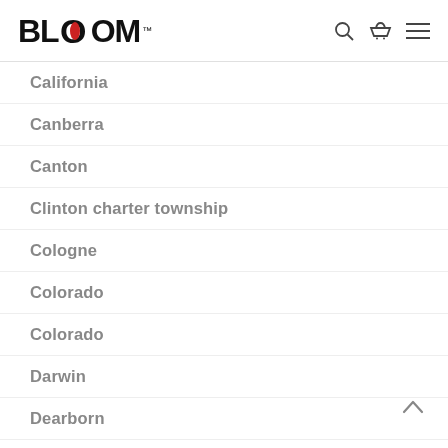BLOOM™
California
Canberra
Canton
Clinton charter township
Cologne
Colorado
Colorado
Darwin
Dearborn
Dearborn Heights
Detroit
Dresden